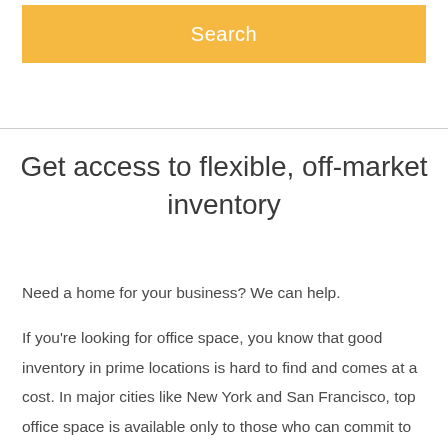Search
Get access to flexible, off-market inventory
Need a home for your business? We can help.

If you're looking for office space, you know that good inventory in prime locations is hard to find and comes at a cost. In major cities like New York and San Francisco, top office space is available only to those who can commit to binding contracts, fork